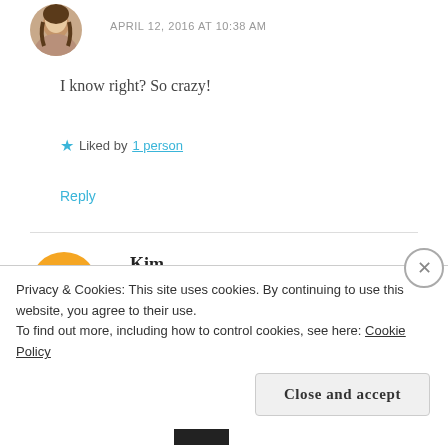APRIL 12, 2016 AT 10:38 AM
I know right? So crazy!
★ Liked by 1 person
Reply
Kim
APRIL 11, 2016 AT 1:06 PM
HA! As the younger generation exclaims nowadays...
Privacy & Cookies: This site uses cookies. By continuing to use this website, you agree to their use.
To find out more, including how to control cookies, see here: Cookie Policy
Close and accept